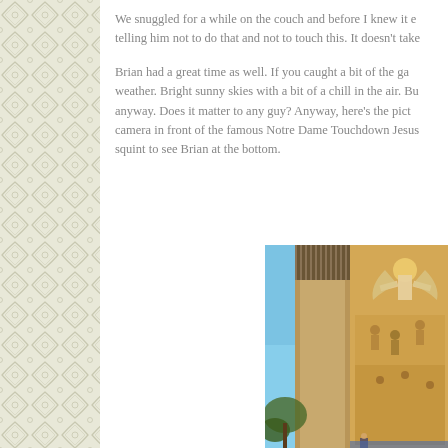We snuggled for a while on the couch and before I knew it e... telling him not to do that and not to touch this. It doesn't take...
Brian had a great time as well. If you caught a bit of the ga... weather. Bright sunny skies with a bit of a chill in the air. Bu... anyway. Does it matter to any guy? Anyway, here's the pict... camera in front of the famous Notre Dame Touchdown Jesus... squint to see Brian at the bottom.
[Figure (photo): Photograph of the Notre Dame Touchdown Jesus mural on the library building, showing the large mosaic artwork with a figure with raised arms, with blue sky and trees visible.]